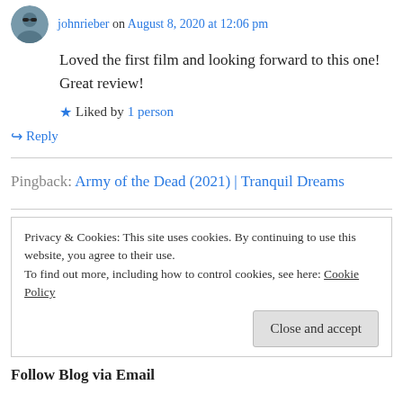johnrieber on August 8, 2020 at 12:06 pm
Loved the first film and looking forward to this one! Great review!
★ Liked by 1 person
↳ Reply
Pingback: Army of the Dead (2021) | Tranquil Dreams
Privacy & Cookies: This site uses cookies. By continuing to use this website, you agree to their use.
To find out more, including how to control cookies, see here: Cookie Policy
Close and accept
Follow Blog via Email